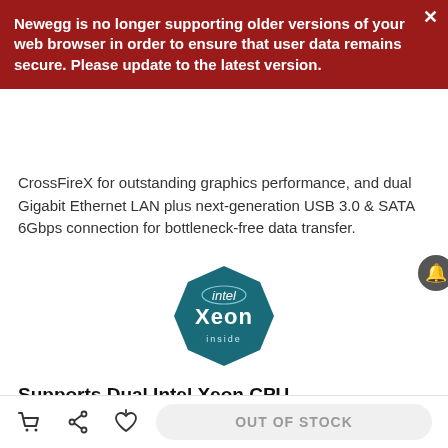Newegg is no longer supporting older versions of your web browser in order to ensure that user data remains secure. Please update to the latest version.
CrossFireX for outstanding graphics performance, and dual Gigabit Ethernet LAN plus next-generation USB 3.0 & SATA 6Gbps connection for bottleneck-free data transfer.
[Figure (logo): Intel Xeon Inside badge logo — dark teal hexagonal badge shape with 'intel Xeon inside' text in white]
Supports Dual Intel Xeon CPU
Powered by Intel 5520 and ICH10R chipsets, the EVGA 270-WS-W555-A2 motherboard supports u... core Intel Xeon processors, providing the computing platform capability necessary for your increasing computing demand.